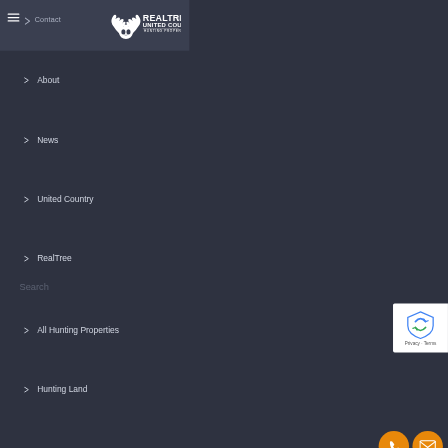Contact | Realtree United Country Hunting Properties
[Figure (logo): Realtree United Country Hunting Properties logo — white deer skull/antler icon with white text REALTREE UNITED COUNTRY HUNTING PROPERTIES]
About
News
United Country
RealTree
Search
All Hunting Properties
Hunting Land
[Figure (other): reCAPTCHA badge with shield icon — Privacy · Terms]
[Figure (other): Orange circular phone/call button icon]
[Figure (other): Orange circular email/envelope button icon]